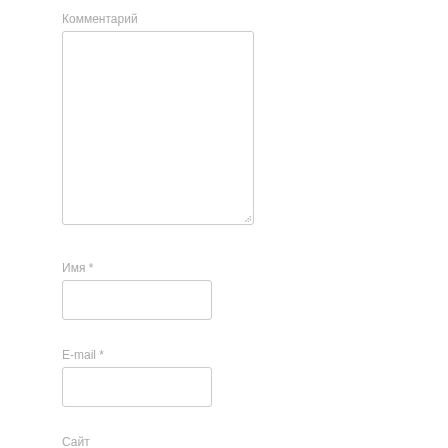Комментарий
[Figure (other): Large textarea input box for comment]
Имя *
[Figure (other): Single-line text input box for name]
E-mail *
[Figure (other): Single-line text input box for email]
Сайт
[Figure (other): Single-line text input box for website]